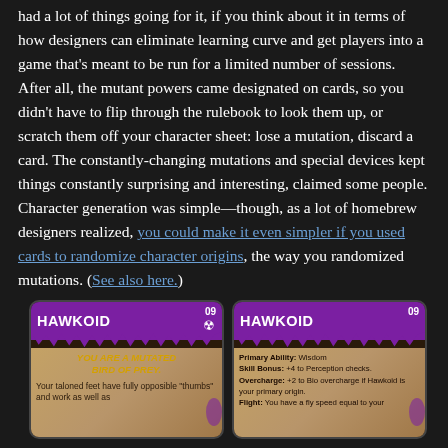had a lot of things going for it, if you think about it in terms of how designers can eliminate learning curve and get players into a game that's meant to be run for a limited number of sessions. After all, the mutant powers came designated on cards, so you didn't have to flip through the rulebook to look them up, or scratch them off your character sheet: lose a mutation, discard a card. The constantly-changing mutations and special devices kept things constantly surprising and interesting, claimed some people. Character generation was simple—though, as a lot of homebrew designers realized, you could make it even simpler if you used cards to randomize character origins, the way you randomized mutations. (See also here.)
[Figure (illustration): Two game cards side by side showing HAWKOID character card #09. Left card shows front with purple header, card title HAWKOID, radioactive symbol, flavor text YOU ARE A MUTATED BIRD OF PREY, and description beginning 'Your taloned feet have fully oppos-ible thumbs and work as well as...'. Right card shows back with purple header, HAWKOID title, and stats: Primary Ability: Wisdom, Skill Bonus: +4 to Perception checks, Overcharge: +2 to Bio overcharge if Hawkoid is your primary origin, Flight: You have a fly speed equal to your...]